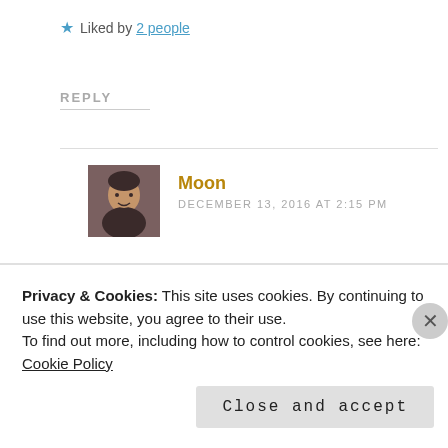★ Liked by 2 people
REPLY
[Figure (photo): Avatar photo of commenter Moon, a person shown from shoulders up]
Moon
DECEMBER 13, 2016 AT 2:15 PM
Thank you! 🙂
★ Like
Privacy & Cookies: This site uses cookies. By continuing to use this website, you agree to their use.
To find out more, including how to control cookies, see here:
Cookie Policy
Close and accept